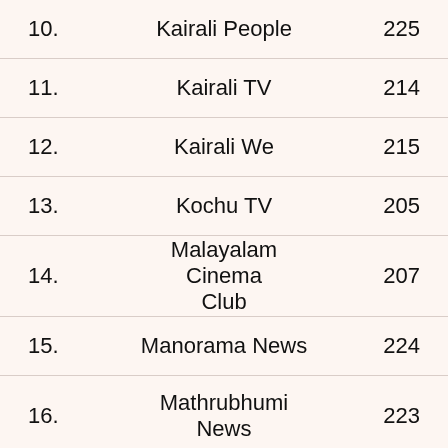| No. | Channel Name | Channel Number |
| --- | --- | --- |
| 10. | Kairali People | 225 |
| 11. | Kairali TV | 214 |
| 12. | Kairali We | 215 |
| 13. | Kochu TV | 205 |
| 14. | Malayalam Cinema Club | 207 |
| 15. | Manorama News | 224 |
| 16. | Mathrubhumi News | 223 |
| 17. | Mazhavil Manorama | 203 |